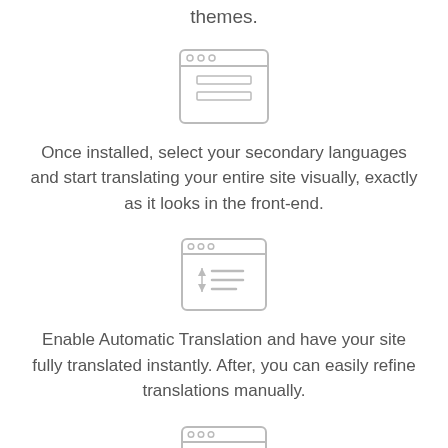themes.
[Figure (illustration): Browser window icon with document lines inside]
Once installed, select your secondary languages and start translating your entire site visually, exactly as it looks in the front-end.
[Figure (illustration): Browser window icon with up-down arrows and text lines]
Enable Automatic Translation and have your site fully translated instantly. After, you can easily refine translations manually.
[Figure (illustration): Browser window icon with a smiley face inside]